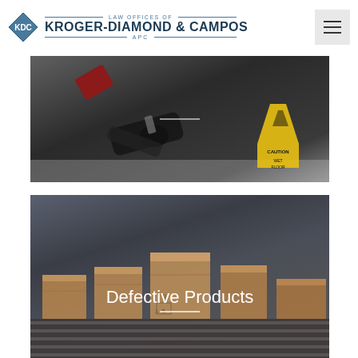[Figure (logo): Law Offices of Kroger-Diamond & Campos APC logo with blue diamond KDC mark and firm name]
[Figure (photo): Person in suit fallen on floor next to a yellow caution wet floor sign, slip and fall accident scene]
[Figure (photo): Cardboard boxes on a conveyor belt representing defective products, with overlay text 'Defective Products' and a white horizontal bar beneath it]